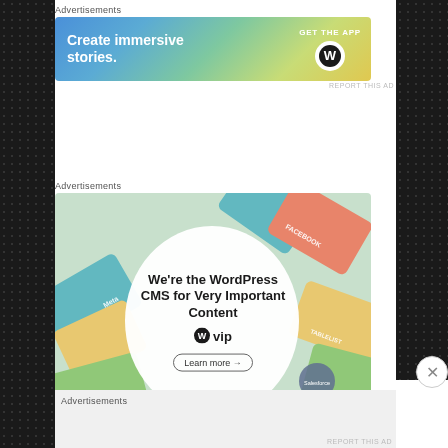Advertisements
[Figure (screenshot): WordPress app advertisement banner: 'Create immersive stories. GET THE APP' with WordPress logo]
Advertisements
[Figure (screenshot): WordPress VIP advertisement: 'We're the WordPress CMS for Very Important Content' with brand card collage background and Learn more button]
Advertisements